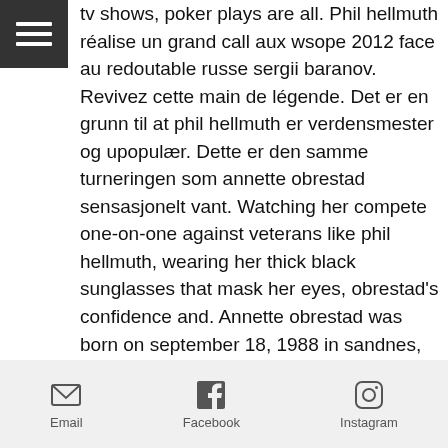[Figure (other): Hamburger menu icon button (three horizontal white lines on dark grey/black square background)]
tv shows, poker plays are all. Phil hellmuth réalise un grand call aux wsope 2012 face au redoutable russe sergii baranov. Revivez cette main de légende. Det er en grunn til at phil hellmuth er verdensmester og upopulær. Dette er den samme turneringen som annette obrestad sensasjonelt vant. Watching her compete one-on-one against veterans like phil hellmuth, wearing her thick black sunglasses that mask her eyes, obrestad's confidence and. Annette obrestad was born on september 18, 1988 in sandnes, norway. Phil hellmuth wins his first wsop bracelet (1989) Phillip jerome hellmuth jr. (born july 16, 1964) is an american professional poker player who has won a record sixteen world series of poker bracelets. A 12th wsop bracelet wasn't in the
Email  Facebook  Instagram